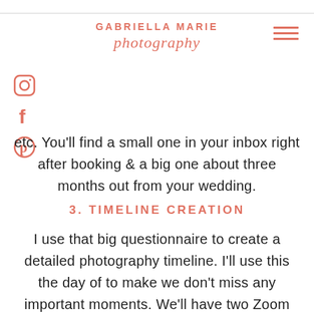GABRIELLA MARIE photography
etc. You'll find a small one in your inbox right after booking & a big one about three months out from your wedding.
3. TIMELINE CREATION
I use that big questionnaire to create a detailed photography timeline. I'll use this the day of to make we don't miss any important moments. We'll have two Zoom